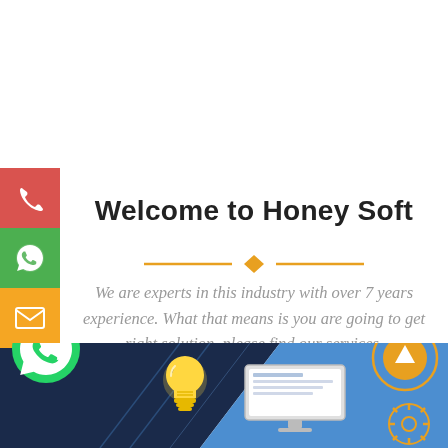[Figure (infographic): Left sidebar with three icon buttons: red phone icon, green WhatsApp icon, orange email/envelope icon]
Welcome to Honey Soft
[Figure (illustration): Decorative orange horizontal divider with a diamond shape in the center]
We are experts in this industry with over 7 years experience. What that means is you are going to get right solution, please find our services.
[Figure (illustration): Bottom banner with dark blue diagonal background, WhatsApp green icon on left, light bulb illustration in center, computer screen mockup, and a circular orange scroll-to-top button on the right with a gear/settings icon below it]